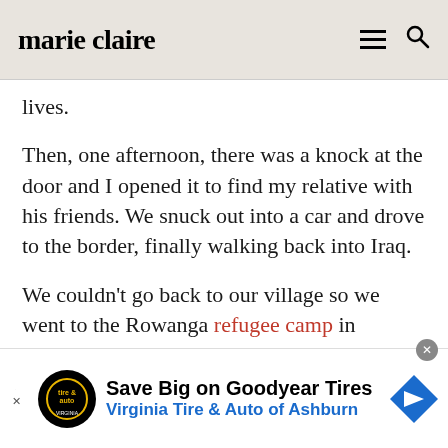marie claire
lives.
Then, one afternoon, there was a knock at the door and I opened it to find my relative with his friends. We snuck out into a car and drove to the border, finally walking back into Iraq.
We couldn't go back to our village so we went to the Rowanga refugee camp in Kurdistan. There I was delighted to find some of my
[Figure (other): Advertisement banner: Save Big on Goodyear Tires - Virginia Tire & Auto of Ashburn]